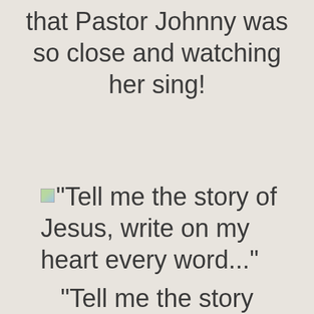that Pastor Johnny was so close and watching her sing!
"Tell me the story of Jesus, write on my heart every word..."
"Tell me the story